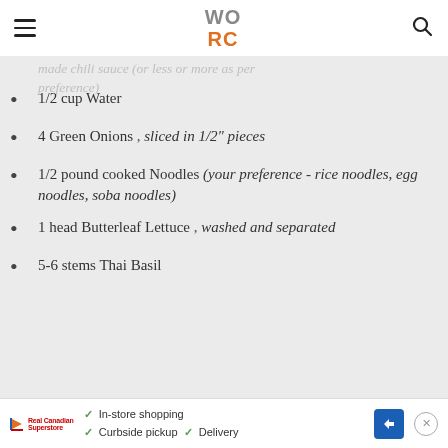WORC (logo) with hamburger menu and search icon
made chili sauce (or less or more as per preference)
1/2 cup Water
4 Green Onions , sliced in 1/2" pieces
1/2 pound cooked Noodles (your preference - rice noodles, egg noodles, soba noodles)
1 head Butterleaf Lettuce , washed and separated
5-6 stems Thai Basil
In-store shopping  Curbside pickup  Delivery  [ad]